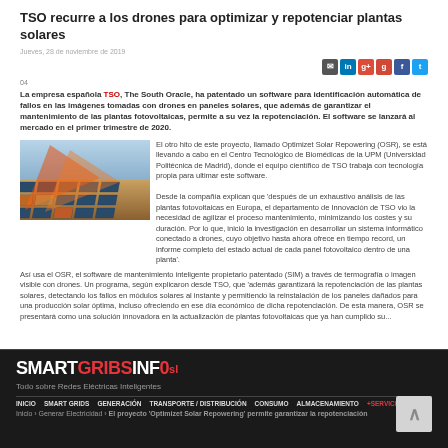TSO recurre a los drones para optimizar y repotenciar plantas solares
Jueves, 28 de noviembre de 2019
La empresa española TSO, The South Oracle, ha patentado un software para identificación automática de fallos en las imágenes tomadas con drones en paneles solares, que además de garantizar el mantenimiento de las plantas fotovoltaicas, permite a su vez la repotenciación. El software se lanzará al mercado en el primer trimestre de 2020.
[Figure (photo): Aerial view of solar panel installation with orange/red highlighting showing drone inspection thermal imaging]
El otro hito de este proyecto, llamado Optimizet Solar Repowering (OSR), se está llevando a cabo en el Centro Tecnológico de Biomédicas de la UPM (Universidad Politécnica de Madrid), donde el equipo científico de TSO trabaja con tecnología propia para ultimar este software.
Desde la compañía explican que 'después de un exhaustivo análisis de las plantas fotovoltaicas en Europa, el departamento de Innovación de TSO vio la necesidad de agilizar el proceso mantenimiento, minimizando los costes y su duración. Por lo que, inició la investigación en desarrollar un sistema informático conectado a drones, cuyo objetivo hasta ahora ofrece en tiempo record, un informe completo del estado actual de cada panel fotovoltaico dentro de una planta'.
Así usa el OSR, el software de mantenimiento inteligente propietario patentado (SIM) a través de termografía o imagen visible con drones. Un programa, según explicaron desde TSO, que 'además garantizará la repotenciación de las plantas solares, detectando los fallos en módulos solares al instante y permitiendo la reinstalación de los paneles dañados para una producción solar óptima, incluso ofreciendo en ese día económico de dicha repotenciación. De esta manera, OSR se presentará como una solución innovadora en la actualización de plantas fotovoltaicas que ya han cumplido su...
SMARTGRIBS INFO · Todo sobre Redes Eléctricas Inteligentes · INICIO SMART GRIDS GENERACIÓN TRANSPORTE / DISTRIBUCIÓN CONSUMO ALMACENAMIENTO +SERVICIOS
Inicio > Generar Electricidad > El proyecto 'Optimizet Solar Repowering' permite garantizar la repotenciación